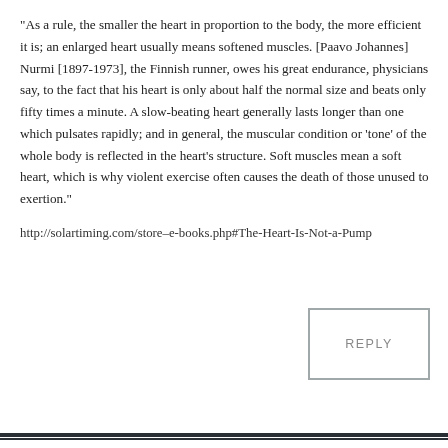“As a rule, the smaller the heart in proportion to the body, the more efficient it is; an enlarged heart usually means softened muscles. [Paavo Johannes] Nurmi [1897-1973], the Finnish runner, owes his great endurance, physicians say, to the fact that his heart is only about half the normal size and beats only fifty times a minute. A slow-beating heart generally lasts longer than one which pulsates rapidly; and in general, the muscular condition or ‘tone’ of the whole body is reflected in the heart’s structure. Soft muscles mean a soft heart, which is why violent exercise often causes the death of those unused to exertion.”
http://solartiming.com/store–e-books.php#The-Heart-Is-Not-a-Pump